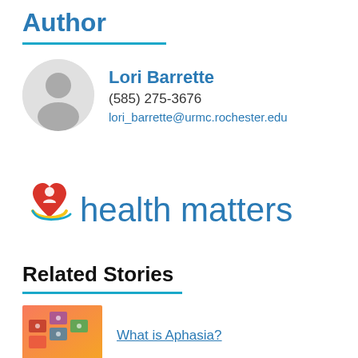Author
Lori Barrette
(585) 275-3676
lori_barrette@urmc.rochester.edu
[Figure (logo): Health Matters logo with red heart and person icon, with text 'health matters' in blue]
Related Stories
[Figure (photo): Thumbnail image for the 'What is Aphasia?' article, showing colorful tiles on an orange/pink background]
What is Aphasia?